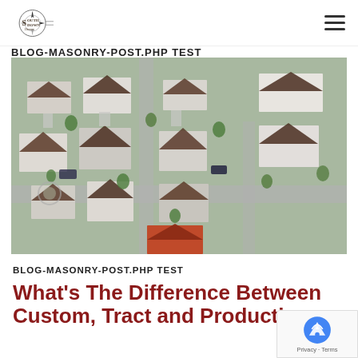Southdown Homes — navigation bar with logo and hamburger menu
BLOG-MASONRY-POST.PHP TEST
[Figure (photo): Aerial view of a residential neighborhood with multiple two-story homes with dark brown roofs, white/gray siding, driveways, and green trees, showing a suburban tract or production housing development.]
BLOG-MASONRY-POST.PHP TEST
What's The Difference Between Custom, Tract and Production